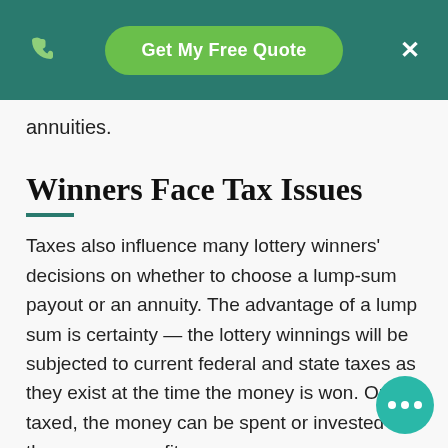Get My Free Quote
annuities.
Winners Face Tax Issues
Taxes also influence many lottery winners' decisions on whether to choose a lump-sum payout or an annuity. The advantage of a lump sum is certainty — the lottery winnings will be subjected to current federal and state taxes as they exist at the time the money is won. Once taxed, the money can be spent or invested as the winner sees fit.